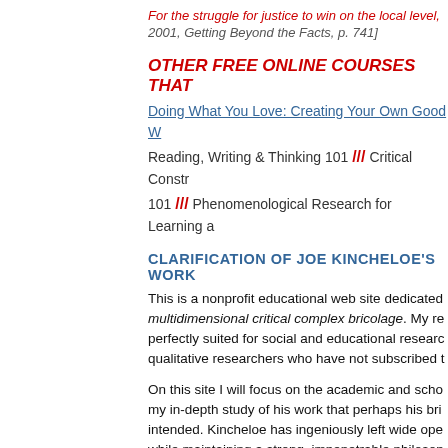For the struggle for justice to win on the local level,
2001, Getting Beyond the Facts, p. 741]
OTHER FREE ONLINE COURSES THAT
Doing What You Love: Creating Your Own Good W
Reading, Writing & Thinking 101 /// Critical Constr
101 /// Phenomenological Research for Learning a
CLARIFICATION OF JOE KINCHELOE'S WORK
This is a nonprofit educational web site dedicated multidimensional critical complex bricolage. My re perfectly suited for social and educational researc qualitative researchers who have not subscribed t
On this site I will focus on the academic and scho my in-depth study of his work that perhaps his bri intended. Kincheloe has ingeniously left wide ope while maintaining a strong, impenetrable philosop his work how this research process can be applie involved in research, thus his bricolage is also a p long overdue. Using the full power of his bricolage
I may write a blog again on this site, but it will be a past. Primarily, I will be continuing my research a